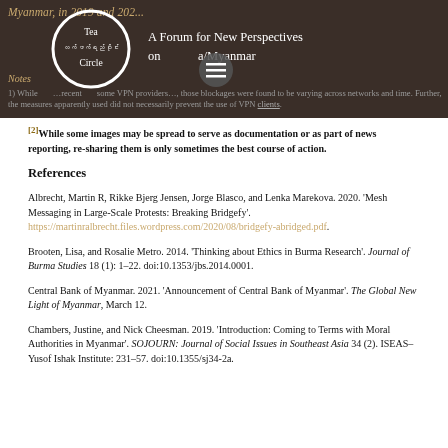[Figure (logo): Tea Circle - A Forum for New Perspectives on Burma/Myanmar banner with logo]
[2] While some images may be spread to serve as documentation or as part of news reporting, re-sharing them is only sometimes the best course of action.
References
Albrecht, Martin R, Rikke Bjerg Jensen, Jorge Blasco, and Lenka Marekova. 2020. 'Mesh Messaging in Large-Scale Protests: Breaking Bridgefy'. https://martinralbrecht.files.wordpress.com/2020/08/bridgefy-abridged.pdf.
Brooten, Lisa, and Rosalie Metro. 2014. 'Thinking about Ethics in Burma Research'. Journal of Burma Studies 18 (1): 1–22. doi:10.1353/jbs.2014.0001.
Central Bank of Myanmar. 2021. 'Announcement of Central Bank of Myanmar'. The Global New Light of Myanmar, March 12.
Chambers, Justine, and Nick Cheesman. 2019. 'Introduction: Coming to Terms with Moral Authorities in Myanmar'. SOJOURN: Journal of Social Issues in Southeast Asia 34 (2). ISEAS–Yusof Ishak Institute: 231–57. doi:10.1355/sj34-2a.